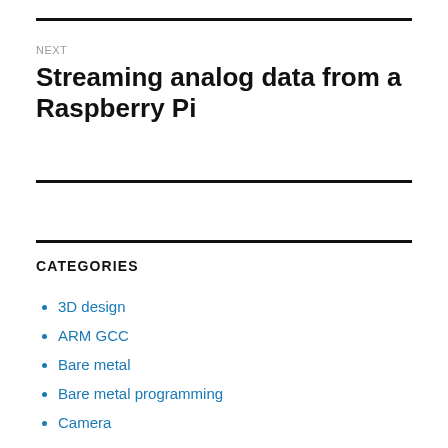NEXT
Streaming analog data from a Raspberry Pi
CATEGORIES
3D design
ARM GCC
Bare metal
Bare metal programming
Camera